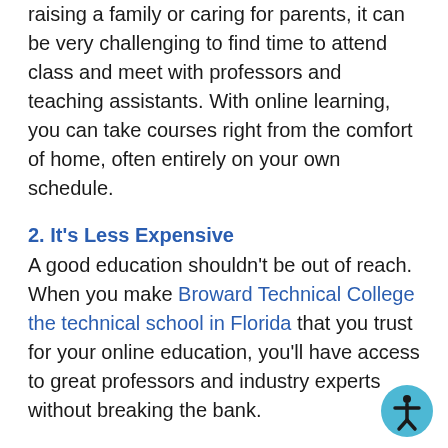raising a family or caring for parents, it can be very challenging to find time to attend class and meet with professors and teaching assistants. With online learning, you can take courses right from the comfort of home, often entirely on your own schedule.
2. It's Less Expensive
A good education shouldn't be out of reach. When you make Broward Technical College the technical school in Florida that you trust for your online education, you'll have access to great professors and industry experts without breaking the bank.
3. You Have More Resources
When you attend college on campus, many